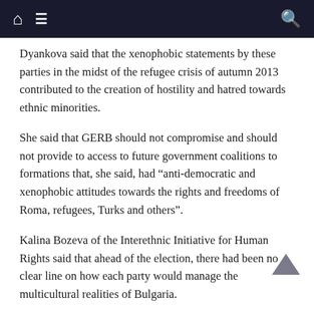[navigation bar with home, menu, and search icons]
Dyankova said that the xenophobic statements by these parties in the midst of the refugee crisis of autumn 2013 contributed to the creation of hostility and hatred towards ethnic minorities.
She said that GERB should not compromise and should not provide to access to future government coalitions to formations that, she said, had “anti-democratic and xenophobic attitudes towards the rights and freedoms of Roma, refugees, Turks and others”.
Kalina Bozeva of the Interethnic Initiative for Human Rights said that ahead of the election, there had been no clear line on how each party would manage the multicultural realities of Bulgaria.
Now negotiations on the government of the country had